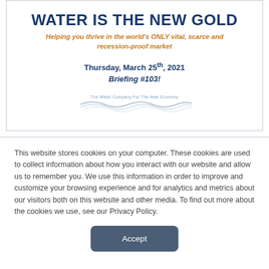WATER IS THE NEW GOLD
Helping you thrive in the world's ONLY vital, scarce and recession-proof market
Thursday, March 25th, 2021
Briefing #103!
[Figure (logo): The Water Company For The New Economy logo with water wave illustration]
This website stores cookies on your computer. These cookies are used to collect information about how you interact with our website and allow us to remember you. We use this information in order to improve and customize your browsing experience and for analytics and metrics about our visitors both on this website and other media. To find out more about the cookies we use, see our Privacy Policy.
Accept